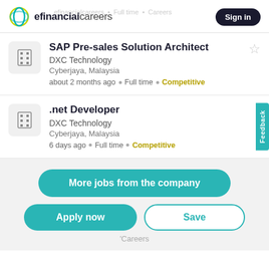efinancialcareers — Sign in
SAP Pre-sales Solution Architect
DXC Technology
Cyberjaya, Malaysia
about 2 months ago • Full time • Competitive
.net Developer
DXC Technology
Cyberjaya, Malaysia
6 days ago • Full time • Competitive
More jobs from the company
Apply now
Save